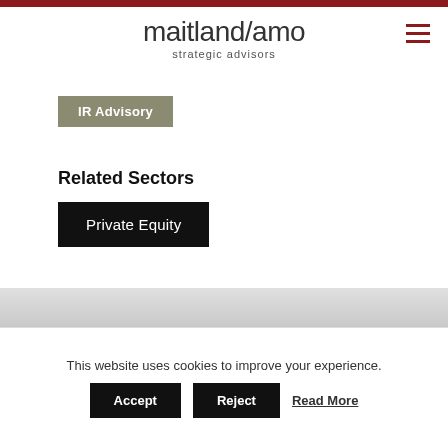maitland/amo strategic advisors
IR Advisory
Related Sectors
Private Equity
About the Author /
This website uses cookies to improve your experience.
Accept   Reject   Read More